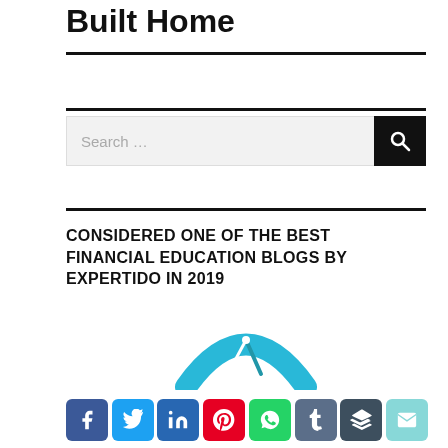Built Home
CONSIDERED ONE OF THE BEST FINANCIAL EDUCATION BLOGS BY EXPERTIDO IN 2019
[Figure (logo): Expertido badge/logo — blue arc with compass needle icon, partially visible]
[Figure (infographic): Social sharing buttons row: Facebook, Twitter, LinkedIn, Pinterest, WhatsApp, Tumblr, Buffer, Email]